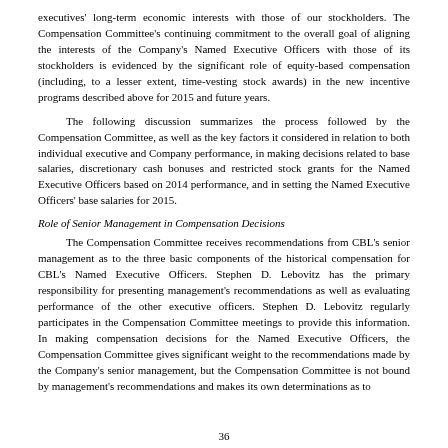executives' long-term economic interests with those of our stockholders. The Compensation Committee's continuing commitment to the overall goal of aligning the interests of the Company's Named Executive Officers with those of its stockholders is evidenced by the significant role of equity-based compensation (including, to a lesser extent, time-vesting stock awards) in the new incentive programs described above for 2015 and future years.
The following discussion summarizes the process followed by the Compensation Committee, as well as the key factors it considered in relation to both individual executive and Company performance, in making decisions related to base salaries, discretionary cash bonuses and restricted stock grants for the Named Executive Officers based on 2014 performance, and in setting the Named Executive Officers' base salaries for 2015.
Role of Senior Management in Compensation Decisions
The Compensation Committee receives recommendations from CBL's senior management as to the three basic components of the historical compensation for CBL's Named Executive Officers. Stephen D. Lebovitz has the primary responsibility for presenting management's recommendations as well as evaluating performance of the other executive officers. Stephen D. Lebovitz regularly participates in the Compensation Committee meetings to provide this information. In making compensation decisions for the Named Executive Officers, the Compensation Committee gives significant weight to the recommendations made by the Company's senior management, but the Compensation Committee is not bound by management's recommendations and makes its own determinations as to
36